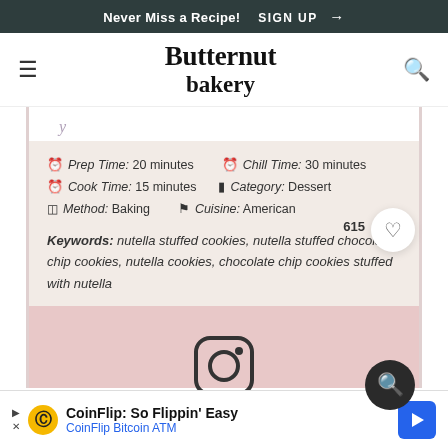Never Miss a Recipe! SIGN UP →
[Figure (logo): Butternut bakery logo in serif font]
y
Prep Time: 20 minutes   Chill Time: 30 minutes
Cook Time: 15 minutes   Category: Dessert
Method: Baking   Cuisine: American
Keywords: nutella stuffed cookies, nutella stuffed chocolate chip cookies, nutella cookies, chocolate chip cookies stuffed with nutella
[Figure (illustration): Instagram icon in pink section]
615
CoinFlip: So Flippin' Easy
CoinFlip Bitcoin ATM